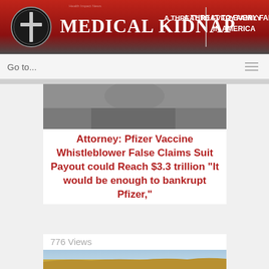[Figure (logo): Medical Kidnap website header banner with red gradient background, cross logo on left, bold white serif title 'MEDICAL KIDNAP', vertical divider, and tagline 'A THREAT TO EVERY FAMILY IN AMERICA' on the right]
Go to...
[Figure (photo): Partial cropped photo of a person, mostly cut off, dark tones]
Attorney: Pfizer Vaccine Whistleblower False Claims Suit Payout could Reach $3.3 trillion "It would be enough to bankrupt Pfizer,"
776 Views
[Figure (photo): Photo of golden wheat field with a white line chart overlaid at the bottom, suggesting financial or commodity data overlay]